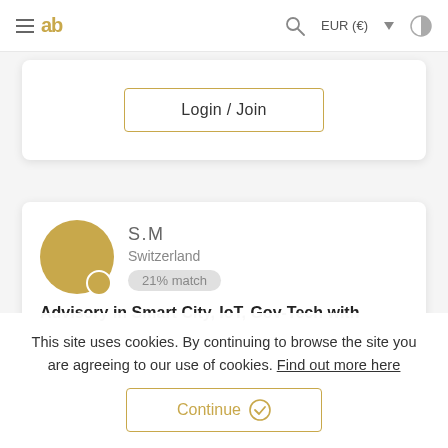≡ ab   🔍   EUR (€) ▾   ◑
[Figure (screenshot): Login / Join button inside a white rounded card]
[Figure (screenshot): Profile card showing S.M from Switzerland with 21% match and title 'Advisory in Smart City, IoT, Gov-Tech with']
This site uses cookies. By continuing to browse the site you are agreeing to our use of cookies. Find out more here
[Figure (screenshot): Continue button with checkmark icon]